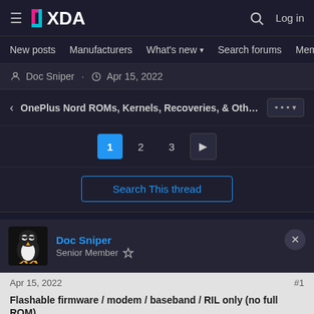XDA — Log in
New posts   Manufacturers   What's new   Search forums   Membe >
Doc Sniper · Apr 15, 2022
< OnePlus Nord ROMs, Kernels, Recoveries, & Other De   [... ▾]
1  2  3  [▶]
Search This thread
Doc Sniper
Senior Member
Apr 15, 2022   #1
Flashable firmware / modem / baseband / RIL only (no full ROM)